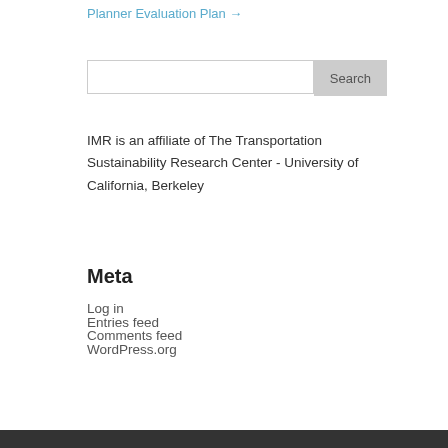Planner Evaluation Plan →
IMR is an affiliate of The Transportation Sustainability Research Center - University of California, Berkeley
Meta
Log in
Entries feed
Comments feed
WordPress.org